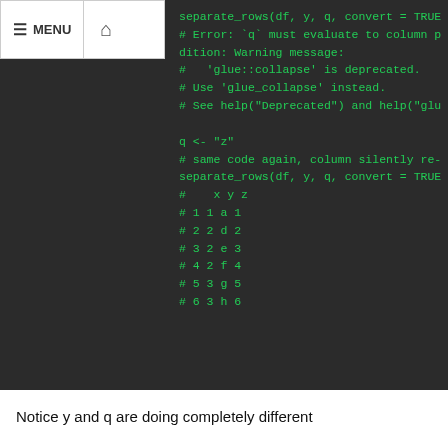MENU 🏠
[Figure (screenshot): Dark-themed code block showing R code output with separate_rows function calls, error/warning messages, and tabular output with columns x, y, z]
Notice y and q are doing completely different